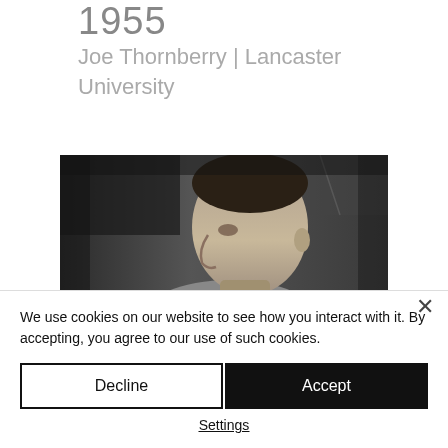1955
Joe Thornberry | Lancaster University
[Figure (photo): Black and white portrait photograph of a young man in profile, facing left, with dark hair and early 20th century style.]
We use cookies on our website to see how you interact with it. By accepting, you agree to our use of such cookies.
Decline
Accept
Settings